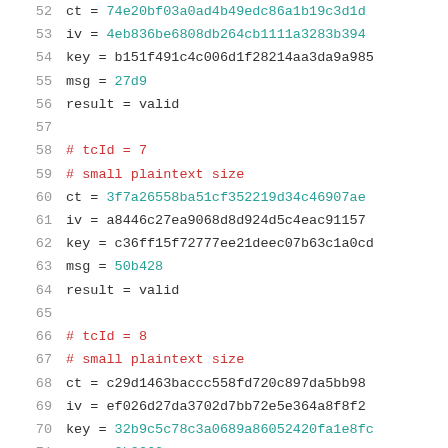52  ct = 74e20bf03a0ad4b49edc86a1b19c3d1d
53  iv = 4eb836be6808db264cb1111a3283b394
54  key = b151f491c4c006d1f28214aa3da9a985
55  msg = 27d9
56  result = valid
57
58  # tcId = 7
59  # small plaintext size
60  ct = 3f7a26558ba51cf352219d34c46907ae
61  iv = a8446c27ea9068d8d924d5c4eac91157
62  key = c36ff15f72777ee21deec07b63c1a0cd
63  msg = 50b428
64  result = valid
65
66  # tcId = 8
67  # small plaintext size
68  ct = c29d1463baccc558fd720c897da5bb98
69  iv = ef026d27da3702d7bb72e5e364a8f8f2
70  key = 32b9c5c78c3a0689a86052420fa1e8fc
71  msg = 0b9262ec
72  result = valid